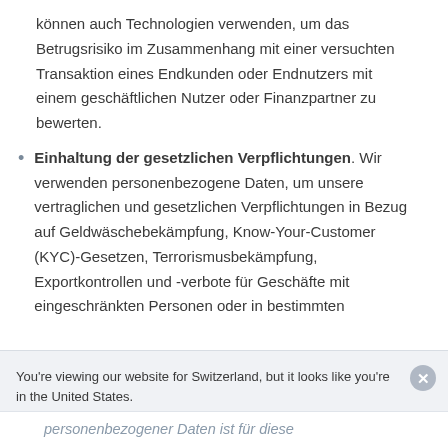können auch Technologien verwenden, um das Betrugsrisiko im Zusammenhang mit einer versuchten Transaktion eines Endkunden oder Endnutzers mit einem geschäftlichen Nutzer oder Finanzpartner zu bewerten.
Einhaltung der gesetzlichen Verpflichtungen. Wir verwenden personenbezogene Daten, um unsere vertraglichen und gesetzlichen Verpflichtungen in Bezug auf Geldwäschebekämpfung, Know-Your-Customer (KYC)-Gesetzen, Terrorismusbekämpfung, Exportkontrollen und -verbote für Geschäfte mit eingeschränkten Personen oder in bestimmten
You're viewing our website for Switzerland, but it looks like you're in the United States. Switch to the United States site ›